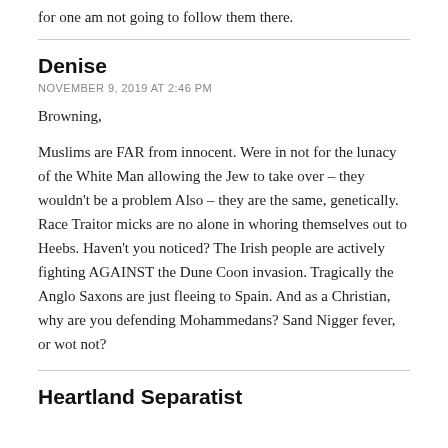for one am not going to follow them there.
Denise
NOVEMBER 9, 2019 AT 2:46 PM
Browning,
Muslims are FAR from innocent. Were in not for the lunacy of the White Man allowing the Jew to take over – they wouldn't be a problem Also – they are the same, genetically. Race Traitor micks are no alone in whoring themselves out to Heebs. Haven't you noticed? The Irish people are actively fighting AGAINST the Dune Coon invasion. Tragically the Anglo Saxons are just fleeing to Spain. And as a Christian, why are you defending Mohammedans? Sand Nigger fever, or wot not?
Heartland Separatist